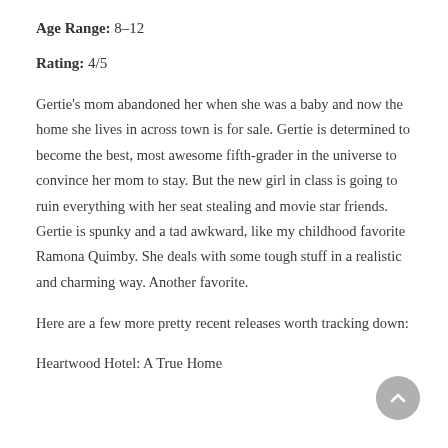Age Range: 8–12
Rating: 4/5
Gertie's mom abandoned her when she was a baby and now the home she lives in across town is for sale. Gertie is determined to become the best, most awesome fifth-grader in the universe to convince her mom to stay. But the new girl in class is going to ruin everything with her seat stealing and movie star friends. Gertie is spunky and a tad awkward, like my childhood favorite Ramona Quimby. She deals with some tough stuff in a realistic and charming way. Another favorite.
Here are a few more pretty recent releases worth tracking down:
Heartwood Hotel: A True Home